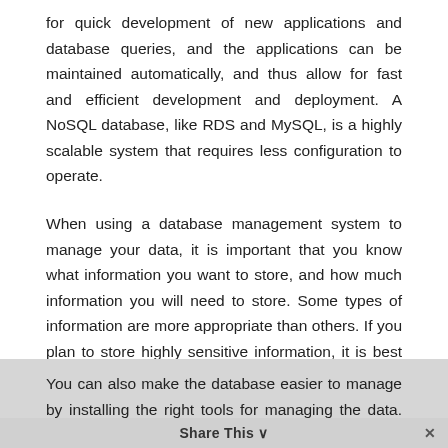for quick development of new applications and database queries, and the applications can be maintained automatically, and thus allow for fast and efficient development and deployment. A NoSQL database, like RDS and MySQL, is a highly scalable system that requires less configuration to operate.
When using a database management system to manage your data, it is important that you know what information you want to store, and how much information you will need to store. Some types of information are more appropriate than others. If you plan to store highly sensitive information, it is best that your system has a higher level of security to ensure that the information cannot be misused by unscrupulous parties.
You can also make the database easier to manage by installing the right tools for managing the data. There are